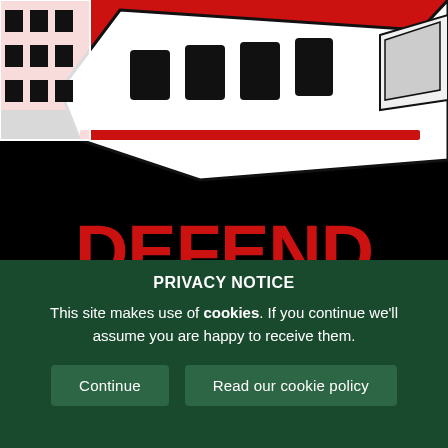[Figure (illustration): A bold graphic poster with a black background and red top section showing a stylized train/tram illustration. Large bold red text reads 'DEFEND' and white text reads 'JOBS, SERVICES' below it.]
PRIVACY NOTICE
This site makes use of cookies. If you continue we'll assume you are happy to receive them.
Continue
Read our cookie policy